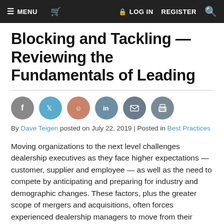≡ MENU   🛒   🔒 LOG IN   REGISTER   🔍
Blocking and Tackling — Reviewing the Fundamentals of Leading
[Figure (infographic): Row of six social sharing icon circles: Facebook (grey), Twitter (blue), Reddit (rose/salmon), LinkedIn (slate blue), Email (dark grey), Print (dark grey)]
By Dave Teigen posted on July 22, 2019 | Posted in Best Practices
Moving organizations to the next level challenges dealership executives as they face higher expectations — customer, supplier and employee — as well as the need to compete by anticipating and preparing for industry and demographic changes. These factors, plus the greater scope of mergers and acquisitions, often forces experienced dealership managers to move from their traditional, management heavy responsibilities to a more leadership focused role. This change can be very difficult for even the most experienced executive because there is often a